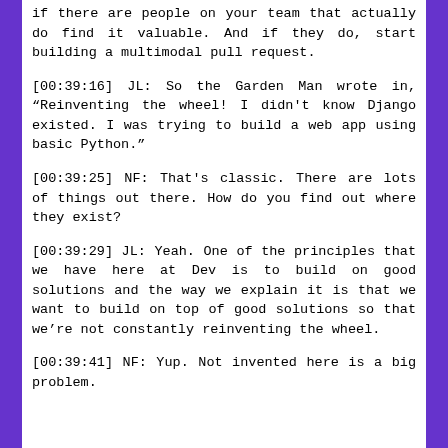if there are people on your team that actually do find it valuable. And if they do, start building a multimodal pull request.
[00:39:16] JL: So the Garden Man wrote in, “Reinventing the wheel! I didn’t know Django existed. I was trying to build a web app using basic Python.”
[00:39:25] NF: That’s classic. There are lots of things out there. How do you find out where they exist?
[00:39:29] JL: Yeah. One of the principles that we have here at Dev is to build on good solutions and the way we explain it is that we want to build on top of good solutions so that we’re not constantly reinventing the wheel.
[00:39:41] NF: Yup. Not invented here is a big problem.